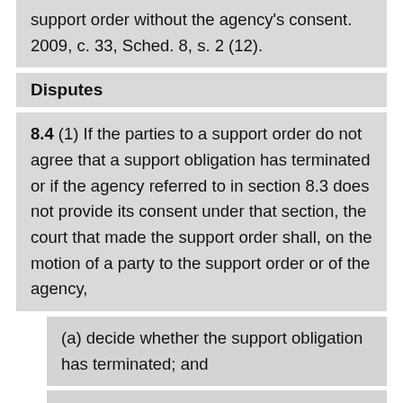support order without the agency's consent. 2009, c. 33, Sched. 8, s. 2 (12).
Disputes
8.4 (1) If the parties to a support order do not agree that a support obligation has terminated or if the agency referred to in section 8.3 does not provide its consent under that section, the court that made the support order shall, on the motion of a party to the support order or of the agency,
(a) decide whether the support obligation has terminated; and
(b) make an order to that effect. 2009, c. 33, Sched. 8, s. 2 (12).